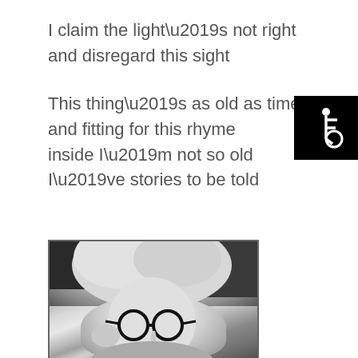I claim the light’s not right
and disregard this sight
This thing’s as old as time
and fitting for this rhyme
inside I’m not so old
I’ve stories to be told
[Figure (illustration): Accessibility wheelchair symbol icon in white on black background]
[Figure (photo): Black and white photo of a woman with silver/white hair and round dark-framed glasses]